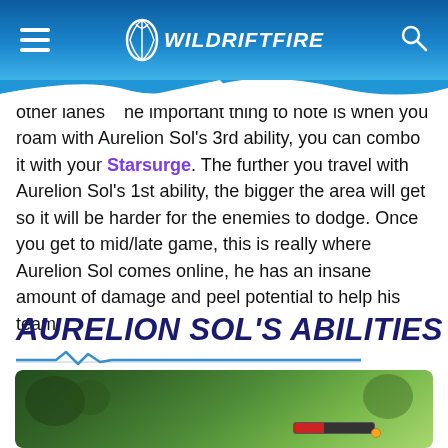WILDRIFTFIRE
other lanes... the important thing to note is when you roam with Aurelion Sol's 3rd ability, you can combo it with your Starsurge. The further you travel with Aurelion Sol's 1st ability, the bigger the area will get so it will be harder for the enemies to dodge. Once you get to mid/late game, this is really where Aurelion Sol comes online, he has an insane amount of damage and peel potential to help his team.
AURELION SOL'S ABILITIES
[Figure (screenshot): Screenshot of Aurelion Sol gameplay in League of Legends: Wild Rift, showing a top-down view with a health bar visible]